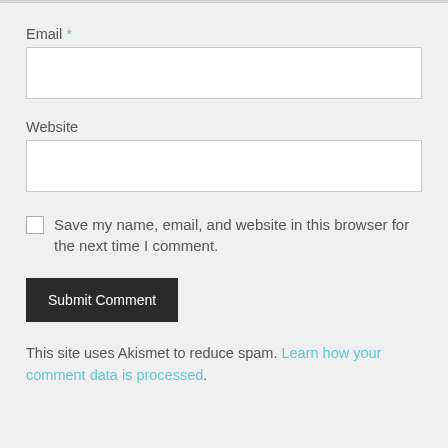Email *
[Figure (screenshot): Email text input field, white background with light gray border]
Website
[Figure (screenshot): Website text input field, white background with light gray border]
Save my name, email, and website in this browser for the next time I comment.
[Figure (screenshot): Submit Comment button, dark background with white text]
This site uses Akismet to reduce spam. Learn how your comment data is processed.